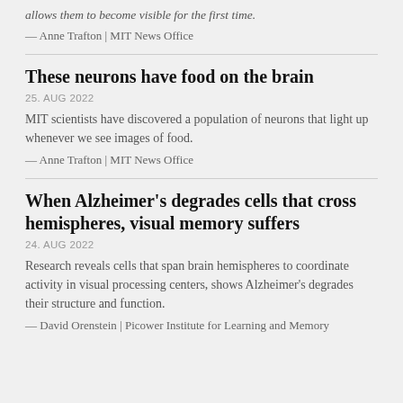allows them to become visible for the first time.
— Anne Trafton | MIT News Office
These neurons have food on the brain
25. AUG 2022
MIT scientists have discovered a population of neurons that light up whenever we see images of food.
— Anne Trafton | MIT News Office
When Alzheimer's degrades cells that cross hemispheres, visual memory suffers
24. AUG 2022
Research reveals cells that span brain hemispheres to coordinate activity in visual processing centers, shows Alzheimer's degrades their structure and function.
— David Orenstein | Picower Institute for Learning and Memory